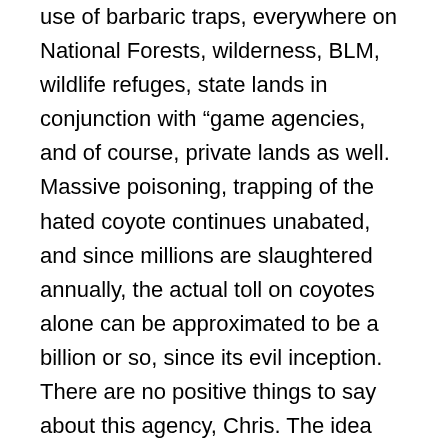use of barbaric traps, everywhere on National Forests, wilderness, BLM, wildlife refuges, state lands in conjunction with “game agencies, and of course, private lands as well. Massive poisoning, trapping of the hated coyote continues unabated, and since millions are slaughtered annually, the actual toll on coyotes alone can be approximated to be a billion or so, since its evil inception. There are no positive things to say about this agency, Chris. The idea that “controlling rabies, bird management and other Humanist approaches, which result in great stress and injury to birds and other wild animals, is a positive thing, must be challenged. It is a sad part of our species antiquated idea of “management.” Please read the article on this site regarding this issue, which will help give a